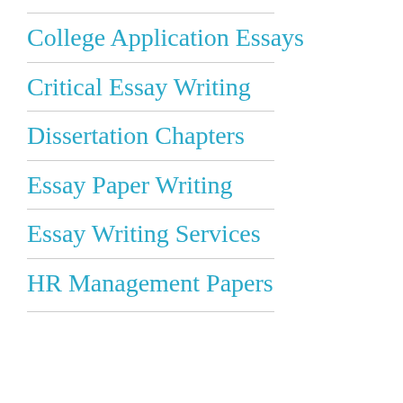College Application Essays
Critical Essay Writing
Dissertation Chapters
Essay Paper Writing
Essay Writing Services
HR Management Papers